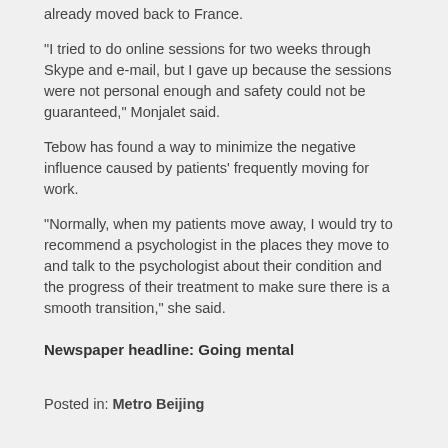already moved back to France.
"I tried to do online sessions for two weeks through Skype and e-mail, but I gave up because the sessions were not personal enough and safety could not be guaranteed," Monjalet said.
Tebow has found a way to minimize the negative influence caused by patients' frequently moving for work.
"Normally, when my patients move away, I would try to recommend a psychologist in the places they move to and talk to the psychologist about their condition and the progress of their treatment to make sure there is a smooth transition," she said.
Newspaper headline: Going mental
Posted in: Metro Beijing